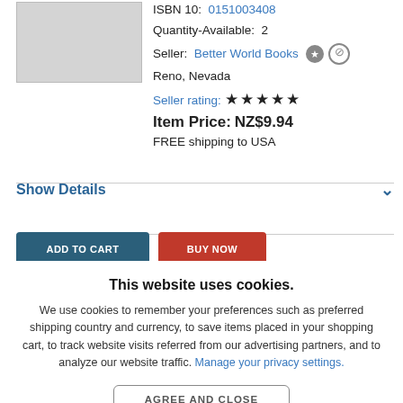[Figure (photo): Book cover thumbnail image, grey placeholder rectangle]
ISBN 10: 0151003408
Quantity-Available: 2
Seller: Better World Books
Reno, Nevada
Seller rating: ★★★★★
Item Price: NZ$9.94
FREE shipping to USA
Show Details
[Figure (screenshot): ADD TO CART and BUY NOW buttons, partially visible]
This website uses cookies.
We use cookies to remember your preferences such as preferred shipping country and currency, to save items placed in your shopping cart, to track website visits referred from our advertising partners, and to analyze our website traffic. Manage your privacy settings.
AGREE AND CLOSE